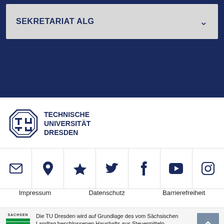SEKRETARIAT ALG
[Figure (logo): Technische Universität Dresden logo with octagonal TU emblem and bold text TECHNISCHE UNIVERSITÄT DRESDEN in navy blue]
[Figure (infographic): Row of 7 social/contact icons: email, location pin, star/bookmark, Twitter bird, Facebook f, YouTube play button, Instagram camera — all in navy blue on white background with dividers]
Impressum   Datenschutz   Barrierefreiheit
Die TU Dresden wird auf Grundlage des vom Sächsischen Landtag beschlossenen Haushalts aus Steuermitteln mitfinanziert.